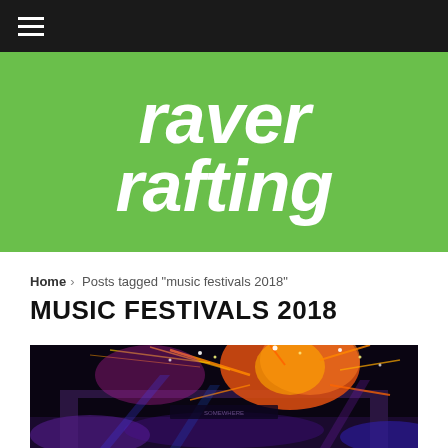Navigation bar with hamburger menu
raver rafting
Home › Posts tagged "music festivals 2018"
MUSIC FESTIVALS 2018
[Figure (photo): Music festival fireworks and stage lighting photo showing colorful orange and purple pyrotechnics above a festival stage at night]